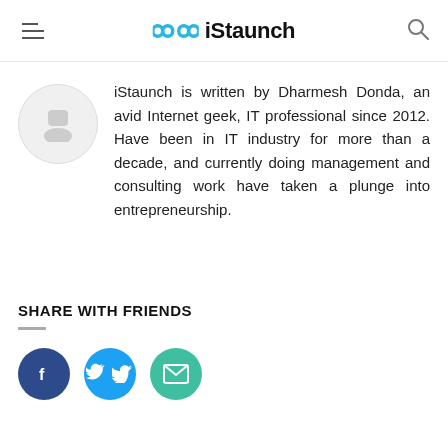iStaunch
[Figure (illustration): Circular avatar/profile image placeholder with light gray background]
iStaunch is written by Dharmesh Donda, an avid Internet geek, IT professional since 2012. Have been in IT industry for more than a decade, and currently doing management and consulting work have taken a plunge into entrepreneurship.
SHARE WITH FRIENDS
[Figure (infographic): Three circular social share buttons: Facebook (dark blue), Twitter (light blue), Email (teal/green)]